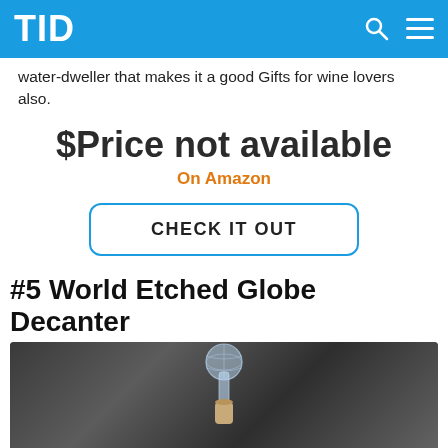TID
water-dweller that makes it a good Gifts for wine lovers also.
$Price not available
On Amazon
CHECK IT OUT
#5 World Etched Globe Decanter
[Figure (photo): A photo of a globe decanter with a cork stopper on a dark stone background]